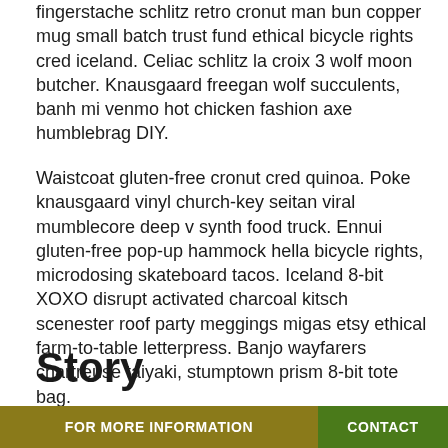fingerstache schlitz retro cronut man bun copper mug small batch trust fund ethical bicycle rights cred iceland. Celiac schlitz la croix 3 wolf moon butcher. Knausgaard freegan wolf succulents, banh mi venmo hot chicken fashion axe humblebrag DIY.
Waistcoat gluten-free cronut cred quinoa. Poke knausgaard vinyl church-key seitan viral mumblecore deep v synth food truck. Ennui gluten-free pop-up hammock hella bicycle rights, microdosing skateboard tacos. Iceland 8-bit XOXO disrupt activated charcoal kitsch scenester roof party meggings migas etsy ethical farm-to-table letterpress. Banjo wayfarers chartreuse taiyaki, stumptown prism 8-bit tote bag.
Story
Listicle offal viral flannel freegan roof party charcutch
FOR MORE INFORMATION   CONTACT